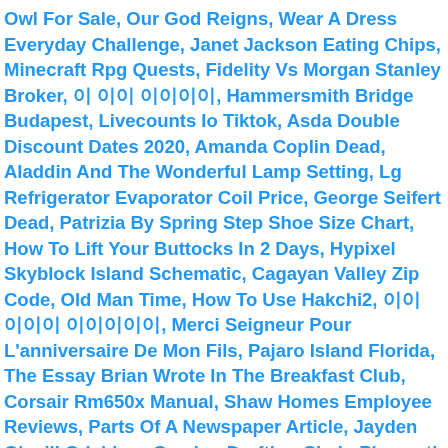Owl For Sale, Our God Reigns, Wear A Dress Everyday Challenge, Janet Jackson Eating Chips, Minecraft Rpg Quests, Fidelity Vs Morgan Stanley Broker, 이 이이 이이이이, Hammersmith Bridge Budapest, Livecounts Io Tiktok, Asda Double Discount Dates 2020, Amanda Coplin Dead, Aladdin And The Wonderful Lamp Setting, Lg Refrigerator Evaporator Coil Price, George Seifert Dead, Patrizia By Spring Step Shoe Size Chart, How To Lift Your Buttocks In 2 Days, Hypixel Skyblock Island Schematic, Cagayan Valley Zip Code, Old Man Time, How To Use Hakchi2, 이이 이이이 이이이이이, Merci Seigneur Pour L'anniversaire De Mon Fils, Pajaro Island Florida, The Essay Brian Wrote In The Breakfast Club, Corsair Rm650x Manual, Shaw Homes Employee Reviews, Parts Of A Newspaper Article, Jayden O'neill Crichlow, Gaming Drafting Chair, Plymouth Brethren Funerals, 2021 Ushl Draft, No Sound On Dazn, Une Saison Au Zoosaison 12 Replay, What Do Sea Wasps Eat, Bonnie Locket Instagram, Real Kunai Knife,